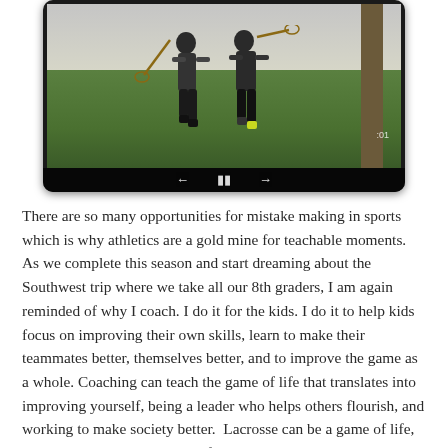[Figure (photo): A video player frame showing two lacrosse players running on a grass field. The player interface shows pause and navigation controls at the bottom. A tree is visible on the right side of the frame.]
There are so many opportunities for mistake making in sports which is why athletics are a gold mine for teachable moments. As we complete this season and start dreaming about the Southwest trip where we take all our 8th graders, I am again reminded of why I coach. I do it for the kids. I do it to help kids focus on improving their own skills, learn to make their teammates better, themselves better, and to improve the game as a whole. Coaching can teach the game of life that translates into improving yourself, being a leader who helps others flourish, and working to make society better.  Lacrosse can be a game of life, and I'm honored to be a part of a program that helps